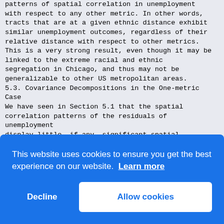patterns of spatial correlation in unemployment with respect to any other metric. In other words, tracts that are at a given ethnic distance exhibit similar unemployment outcomes, regardless of their relative distance with respect to other metrics. This is a very strong result, even though it may be linked to the extreme racial and ethnic segregation in Chicago, and thus may not be generalizable to other US metropolitan areas.
5.3. Covariance Decompositions in the One-metric Case
We have seen in Section 5.1 that the spatial correlation patterns of the residuals of unemployment display little, if any, significant spatial dependence, except for the physical distance metric. Thus
it seems that the set of observable characteristics, that we have considered to account for agent heterogeneity as well as sorting across locations, eliminates most of the spatial dependence in unemployment rates. We now proceed to look more closely at these covariates, to try to identify whic
'exp
the
raw
An i
corr
of o
that
of h
of c
obtaining such a decomposition is complicated by the
fact that our covariates are certainly not
[Figure (other): Cookie consent banner overlay with blue background. Text reads: 'This website uses cookies to ensure you get the best experience on our website. Learn more' with 'Decline' and 'Allow cookies' buttons.]